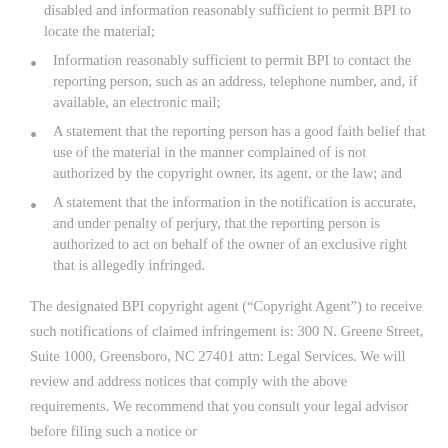disabled and information reasonably sufficient to permit BPI to locate the material;
Information reasonably sufficient to permit BPI to contact the reporting person, such as an address, telephone number, and, if available, an electronic mail;
A statement that the reporting person has a good faith belief that use of the material in the manner complained of is not authorized by the copyright owner, its agent, or the law; and
A statement that the information in the notification is accurate, and under penalty of perjury, that the reporting person is authorized to act on behalf of the owner of an exclusive right that is allegedly infringed.
The designated BPI copyright agent (“Copyright Agent”) to receive such notifications of claimed infringement is: 300 N. Greene Street, Suite 1000, Greensboro, NC 27401 attn: Legal Services. We will review and address notices that comply with the above requirements. We recommend that you consult your legal advisor before filing such a notice or